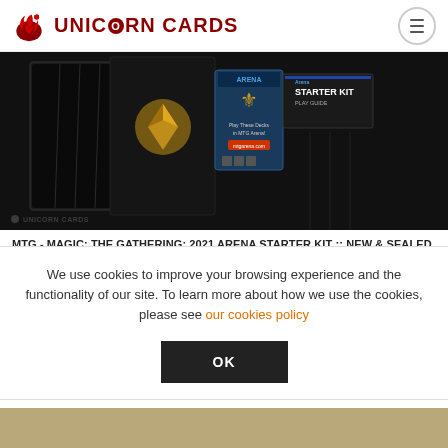Unicorn Cards
[Figure (photo): MTG Arena Starter Kit product photo showing black card boxes and a play guide booklet against a dark background]
MTG - MAGIC: THE GATHERING: 2021 ARENA STARTER KIT :: NEW & SEALED BOX ::
£3.90
ADD TO CART
We use cookies to improve your browsing experience and the functionality of our site. To learn more about how we use the cookies, please see our cookies policy
OK